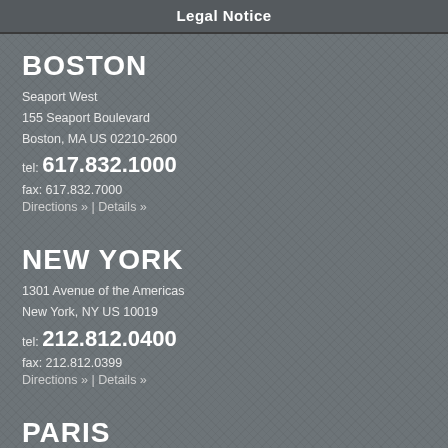Legal Notice
BOSTON
Seaport West
155 Seaport Boulevard
Boston, MA US 02210-2600
tel: 617.832.1000
fax: 617.832.7000
Directions » | Details »
NEW YORK
1301 Avenue of the Americas
New York, NY US 10019
tel: 212.812.0400
fax: 212.812.0399
Directions » | Details »
PARIS
153 rue du Faubourg Saint-Honoré
75008 Paris, France
tel: +33.01.70.36.61.30
fax: +33.01.70.36.61.31